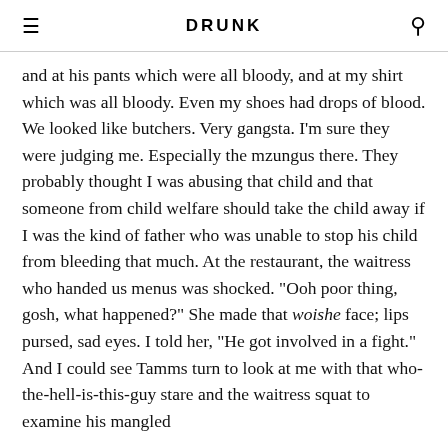DRUNK
and at his pants which were all bloody, and at my shirt which was all bloody. Even my shoes had drops of blood. We looked like butchers. Very gangsta. I'm sure they were judging me. Especially the mzungus there. They probably thought I was abusing that child and that someone from child welfare should take the child away if I was the kind of father who was unable to stop his child from bleeding that much. At the restaurant, the waitress who handed us menus was shocked. "Ooh poor thing, gosh, what happened?" She made that woishe face; lips pursed, sad eyes. I told her, "He got involved in a fight." And I could see Tamms turn to look at me with that who-the-hell-is-this-guy stare and the waitress squat to examine his mangled